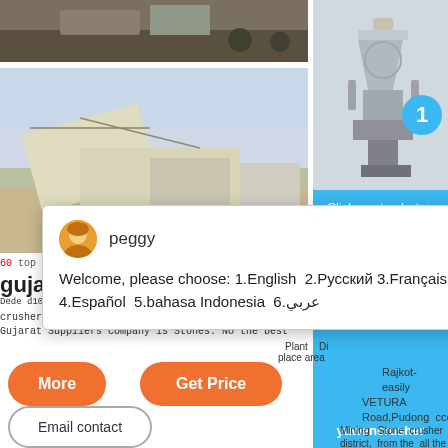[Figure (photo): Top photo strip showing machinery/equipment on road]
[Figure (photo): Photo of industrial crusher/mining equipment outdoors]
[Figure (photo): Right sidebar showing cone crusher machine illustration with badge number 1]
Welcome, please choose: 1.English 2.Русский 3.Français 4.Español 5.bahasa Indonesia 6.عربي
gujarat - Escort
crusher manufacturersin rajkot. Stone Crusher Gujarat Suppliers Company is Stones. No the best Plant Di place area Rajkot-easily VETURA Road,Pudong accessible Mining Stone crusher district, from the all the states of Shanghai
More
Get Price
Email contact
Click me to chat>>
Enquiry
yuwencrusher